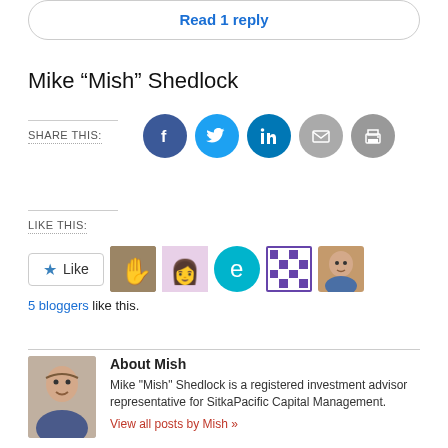Read 1 reply
Mike “Mish” Shedlock
Share this:
[Figure (infographic): Social share icons: Facebook, Twitter, LinkedIn, Email, Print]
Like this:
[Figure (infographic): Like button and 5 blogger avatar thumbnails]
5 bloggers like this.
About Mish
[Figure (photo): Headshot photo of Mike Mish Shedlock]
Mike "Mish" Shedlock is a registered investment advisor representative for SitkaPacific Capital Management.
View all posts by Mish »